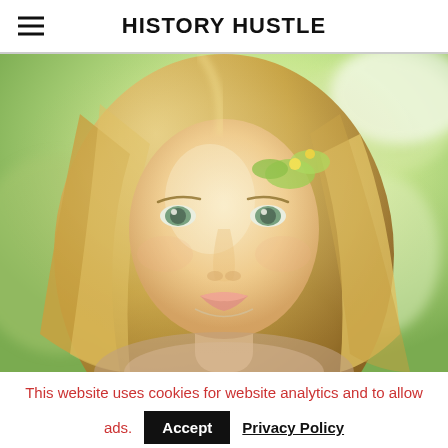HISTORY HUSTLE
[Figure (illustration): Digital painting / illustration of a young woman with long blonde hair and green eyes, wearing a floral headpiece, with a soft green nature background]
This website uses cookies for website analytics and to allow ads.
Accept  Privacy Policy